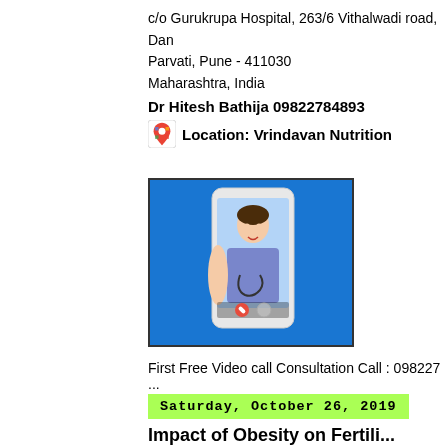c/o Gurukrupa Hospital, 263/6 Vithalwadi road, Dan
Parvati, Pune - 411030
Maharashtra, India
Dr Hitesh Bathija 09822784893
Location: Vrindavan Nutrition
[Figure (photo): A female doctor/nurse in scrubs holding a smartphone showing a video call, against a blue background, with call control buttons visible.]
First Free Video call Consultation Call : 098227...
Saturday, October 26, 2019
Impact of Obesity on Fertili...